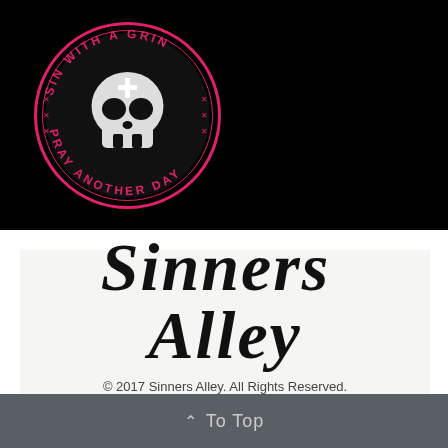[Figure (logo): Circular skull logo with cross, text reading 'SIN WITH A GRIN' at top and 'PRAY ANOTHER DAY' at bottom, pink/red text on black background]
Sinners Alley
© 2017 Sinners Alley. All Rights Reserved.
[Figure (other): Payment method logos: PayPal, VISA, MasterCard, American Express, Discover]
^ To Top